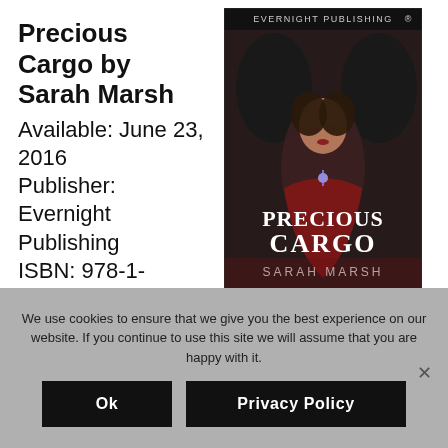Precious Cargo by Sarah Marsh
Available: June 23, 2016
Publisher: Evernight Publishing
ISBN: 978-1-77233-903-1
[Figure (illustration): Book cover for 'Precious Cargo' by Sarah Marsh, published by Evernight Publishing. Shows a woman and two men in a dark romantic scene with the title 'Precious Cargo' and author name 'Sarah Marsh'.]
We use cookies to ensure that we give you the best experience on our website. If you continue to use this site we will assume that you are happy with it.
Ok
Privacy Policy